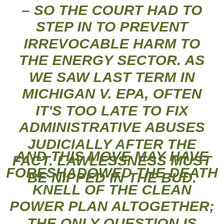– SO THE COURT HAD TO STEP IN TO PREVENT IRREVOCABLE HARM TO THE ENERGY SECTOR. AS WE SAW LAST TERM IN MICHIGAN V. EPA, OFTEN IT'S TOO LATE TO FIX ADMINISTRATIVE ABUSES JUDICIALLY AFTER THE FACT. LAWLESSNESS MUST BE NIPPED IN THE BUD.
AND THIS MOVE MAY HAVE FORESHADOWED THE DEATH KNELL OF THE CLEAN POWER PLAN ALTOGETHER; THE ONLY QUESTION IS WHETHER THE JUSTICES WILL HAVE A CHANCE TO STRIKE IT DOWN FOR GOOD BEFORE THE NEXT PRESIDENT REVERSES IT.